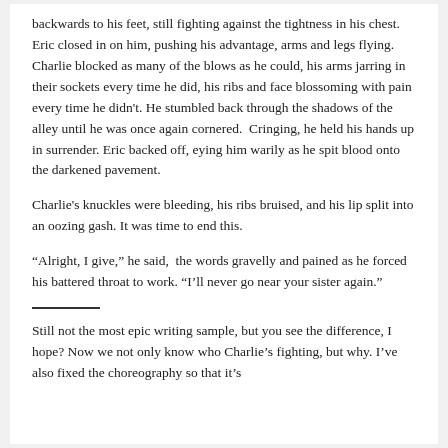backwards to his feet, still fighting against the tightness in his chest. Eric closed in on him, pushing his advantage, arms and legs flying. Charlie blocked as many of the blows as he could, his arms jarring in their sockets every time he did, his ribs and face blossoming with pain every time he didn't. He stumbled back through the shadows of the alley until he was once again cornered.  Cringing, he held his hands up in surrender. Eric backed off, eying him warily as he spit blood onto the darkened pavement.
Charlie's knuckles were bleeding, his ribs bruised, and his lip split into an oozing gash. It was time to end this.
“Alright, I give,” he said,  the words gravelly and pained as he forced his battered throat to work. “I’ll never go near your sister again.”
————
Still not the most epic writing sample, but you see the difference, I hope? Now we not only know who Charlie’s fighting, but why. I’ve also fixed the choreography so that it’s